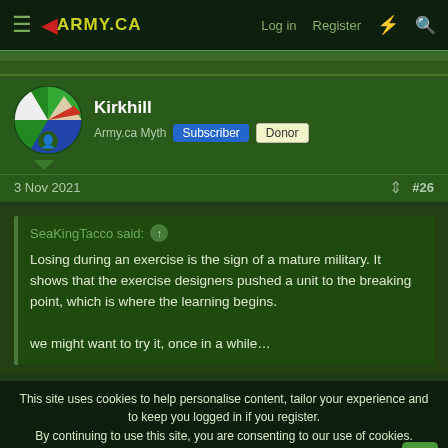≡ 4ARMY.CA   Log in  Register  ⚡  🔍
[Figure (illustration): User avatar for Kirkhill - circular avatar with green, blue, white segments]
Kirkhill
Army.ca Myth  Subscriber  Donor
3 Nov 2021   #26
SeaKingTacco said: ↑

Losing during an exercise is the sign of a mature military. It shows that the exercise designers pushed a unit to the breaking point, which is where the learning begins.

we might want to try it, once in a while…
This site uses cookies to help personalise content, tailor your experience and to keep you logged in if you register.
By continuing to use this site, you are consenting to our use of cookies.
 Accept   Learn more...